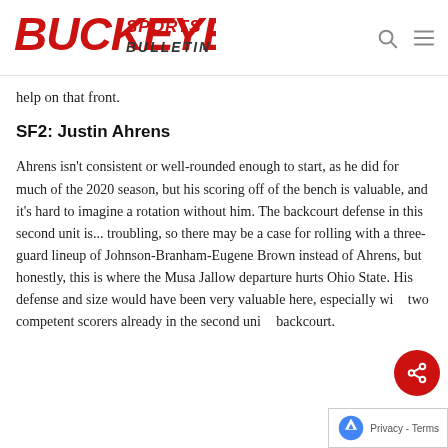Buckeye Sports Bulletin
help on that front.
SF2: Justin Ahrens
Ahrens isn't consistent or well-rounded enough to start, as he did for much of the 2020 season, but his scoring off of the bench is valuable, and it's hard to imagine a rotation without him. The backcourt defense in this second unit is... troubling, so there may be a case for rolling with a three-guard lineup of Johnson-Branham-Eugene Brown instead of Ahrens, but honestly, this is where the Musa Jallow departure hurts Ohio State. His defense and size would have been very valuable here, especially with two competent scorers already in the second unit's backcourt.